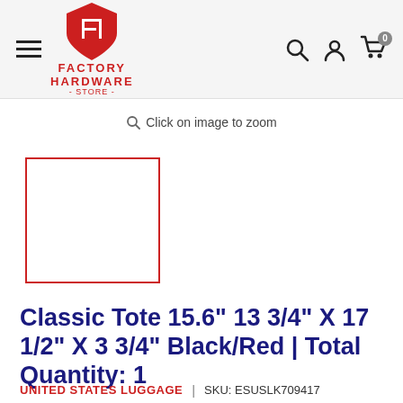Factory Hardware Store — navigation header with logo, hamburger menu, search, account, cart icons
Click on image to zoom
[Figure (photo): Product thumbnail placeholder box with red border]
Classic Tote 15.6" 13 3/4" X 17 1/2" X 3 3/4" Black/Red | Total Quantity: 1
UNITED STATES LUGGAGE | SKU: ESUSLK709417